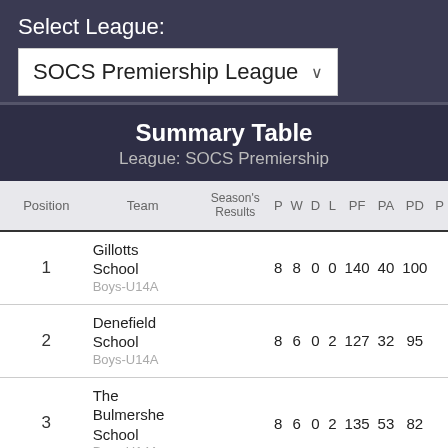Select League:
SOCS Premiership League
Summary Table
League: SOCS Premiership
| Position | Team | Season's Results | P | W | D | L | PF | PA | PD | P |
| --- | --- | --- | --- | --- | --- | --- | --- | --- | --- | --- |
| 1 | Gillotts School
Boys-U14A |  | 8 | 8 | 0 | 0 | 140 | 40 | 100 |  |
| 2 | Denefield School
Boys-U14A |  | 8 | 6 | 0 | 2 | 127 | 32 | 95 |  |
| 3 | The Bulmershe School
Boys-U14A |  | 8 | 6 | 0 | 2 | 135 | 53 | 82 |  |
| 4 | Langtree School
Boys-U14A |  | 8 | 5 | 0 | 3 | 126 | 42 | 84 |  |